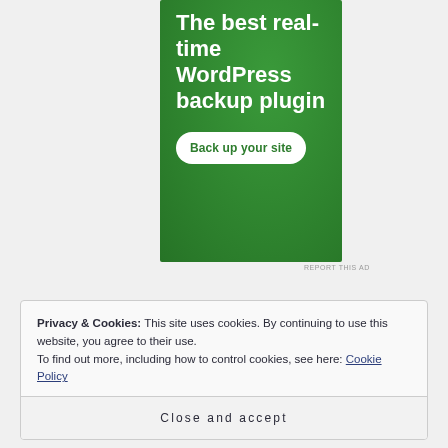[Figure (other): Green advertisement banner for a WordPress backup plugin with text 'The best real-time WordPress backup plugin' and a 'Back up your site' button]
REPORT THIS AD
Privacy & Cookies: This site uses cookies. By continuing to use this website, you agree to their use.
To find out more, including how to control cookies, see here: Cookie Policy
Close and accept